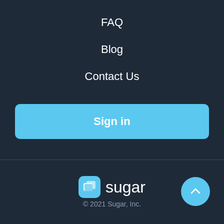FAQ
Blog
Contact Us
Sign in
sugar © 2021 Sugar, Inc.